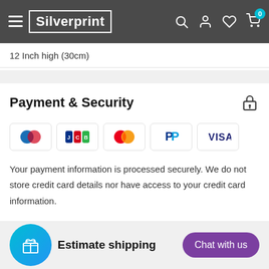Silverprint
12 Inch high (30cm)
Payment & Security
[Figure (logo): Payment method icons: Diners Club, JCB, Mastercard, PayPal, Visa]
Your payment information is processed securely. We do not store credit card details nor have access to your credit card information.
Estimate shipping